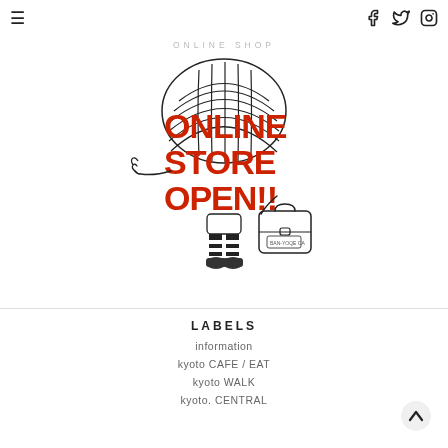☰  [Facebook] [Twitter] [Instagram]
ONLINE SHOP
[Figure (illustration): Hand-drawn cartoon character: a figure with a brain-like shell/hat body, wearing striped stockings and boots, pointing with one hand and carrying a suitcase. Large red bold text overlaid reads: ONLINE STORE OPEN!!]
LABELS
information
kyoto CAFE / EAT
kyoto WALK
kyoto. CENTRAL